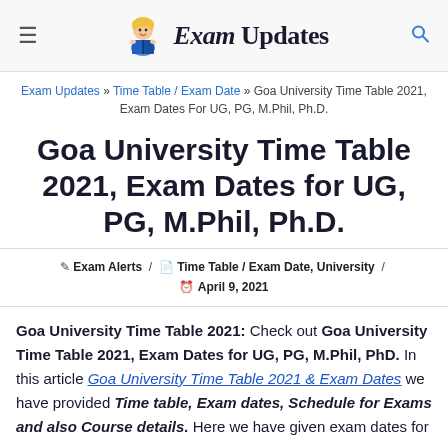Exam Updates
Exam Updates » Time Table / Exam Date » Goa University Time Table 2021, Exam Dates For UG, PG, M.Phil, Ph.D.
Goa University Time Table 2021, Exam Dates for UG, PG, M.Phil, Ph.D.
Exam Alerts / Time Table / Exam Date, University / April 9, 2021
Goa University Time Table 2021: Check out Goa University Time Table 2021, Exam Dates for UG, PG, M.Phil, PhD. In this article Goa University Time Table 2021 & Exam Dates we have provided Time table, Exam dates, Schedule for Exams and also Course details. Here we have given exam dates for